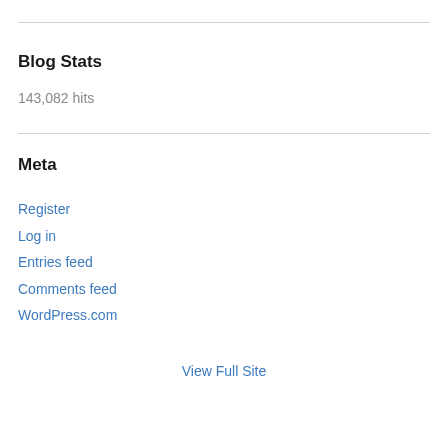Blog Stats
143,082 hits
Meta
Register
Log in
Entries feed
Comments feed
WordPress.com
View Full Site